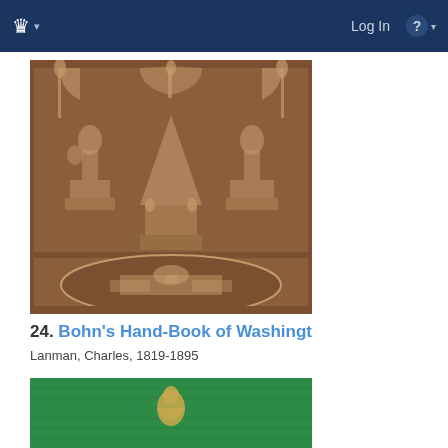Log In
[Figure (photo): Brown cloth book cover with embossed decorative design showing classical figures, monuments, and an oval medallion with the US Capitol building]
24. Bohn's Hand-Book of Washington
Lanman, Charles, 1819-1895
[Figure (photo): Green cloth book cover with embossed gold figure, partially visible]